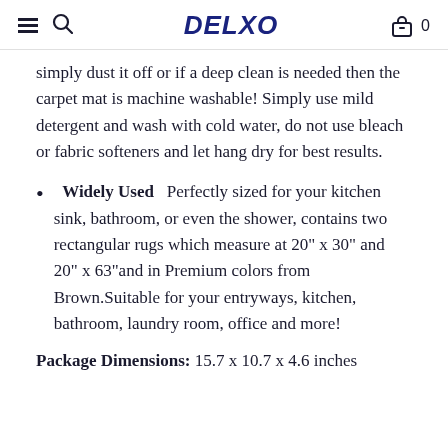DELXO  0
simply dust it off or if a deep clean is needed then the carpet mat is machine washable! Simply use mild detergent and wash with cold water, do not use bleach or fabric softeners and let hang dry for best results.
Widely Used  Perfectly sized for your kitchen sink, bathroom, or even the shower, contains two rectangular rugs which measure at 20" x 30" and 20" x 63"and in Premium colors from Brown.Suitable for your entryways, kitchen, bathroom, laundry room, office and more!
Package Dimensions: 15.7 x 10.7 x 4.6 inches